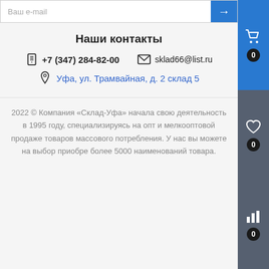Ваш e-mail
Наши контакты
+7 (347) 284-82-00
sklad66@list.ru
Уфа, ул. Трамвайная, д. 2 склад 5
2022 © Компания «Склад-Уфа» начала свою деятельность в 1995 году, специализируясь на опт и мелкооптовой продаже товаров массового потребления. У нас вы можете на выбор приобре более 5000 наименований товара.